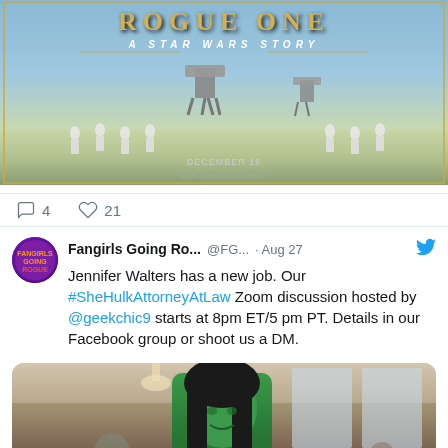[Figure (photo): Rogue One: A Star Wars Story movie poster showing stormtroopers on a beach with AT-AT walkers, Dec 16 release date]
4  21
Fangirls Going Ro... @FG... · Aug 27
Jennifer Walters has a new job. Our #SheHulkAttorneyAtLaw Zoom discussion hosted by @geekchic9 starts at 8pm ET/5 pm PT. Details in our Facebook group or shoot us a DM.
[Figure (photo): She-Hulk character in office setting, green skin, dark hair, wearing professional attire]
Send Voicemail